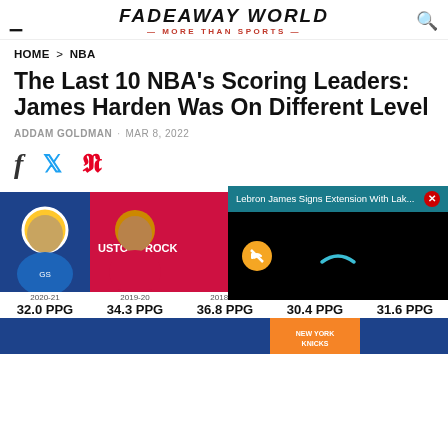FADEAWAY WORLD · MORE THAN SPORTS
HOME > NBA
The Last 10 NBA's Scoring Leaders: James Harden Was On Different Level
ADDAM GOLDMAN · MAR 8, 2022
[Figure (infographic): Row of NBA player cards showing scoring leaders by season: 2020-21 32.0 PPG, 2019-20 34.3 PPG, 2018-19 36.8 PPG, 2017-18 30.4 PPG, 2016-17 31.6 PPG, with team-colored backgrounds]
[Figure (screenshot): Floating video overlay: 'Lebron James Signs Extension With Lak...' with teal header bar, close button (X), black video area with yellow mute button and teal loading arc]
[Figure (infographic): Partial bottom row of more player cards, partially cut off]